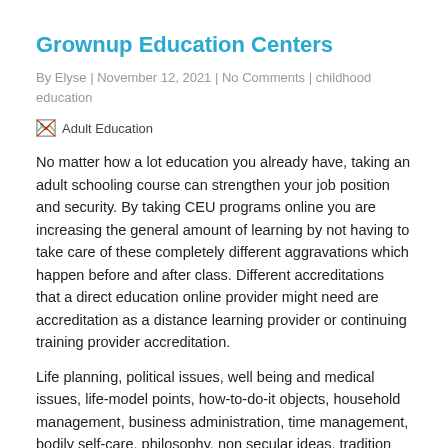Grownup Education Centers
By Elyse | November 12, 2021 | No Comments | childhood education
[Figure (photo): Adult Education image placeholder with broken image icon]
No matter how a lot education you already have, taking an adult schooling course can strengthen your job position and security. By taking CEU programs online you are increasing the general amount of learning by not having to take care of these completely different aggravations which happen before and after class. Different accreditations that a direct education online provider might need are accreditation as a distance learning provider or continuing training provider accreditation.
Life planning, political issues, well being and medical issues, life-model points, how-to-do-it objects, household management, business administration, time management, bodily self-care, philosophy, non secular ideas, tradition and the humanities, and intoberts things have been included in fruitful adult raising